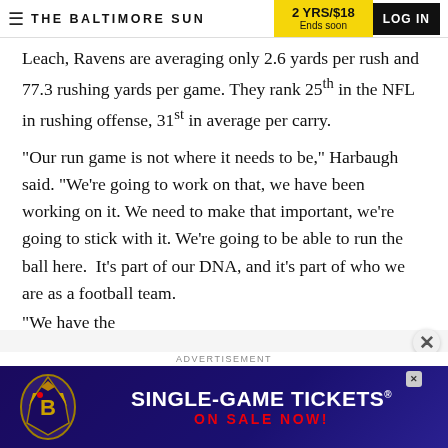THE BALTIMORE SUN | 2 YRS/$18 Ends soon | LOG IN
Leach, Ravens are averaging only 2.6 yards per rush and 77.3 rushing yards per game. They rank 25th in the NFL in rushing offense, 31st in average per carry.
"Our run game is not where it needs to be," Harbaugh said. "We're going to work on that, we have been working on it. We need to make that important, we're going to stick with it. We're going to be able to run the ball here.  It's part of our DNA, and it's part of who we are as a football team.
"We have the ...
ADVERTISEMENT
[Figure (photo): Baltimore Ravens advertisement: Single-game tickets on sale now, with Ravens logo]